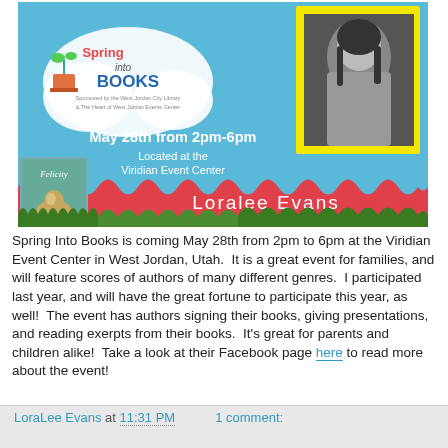[Figure (infographic): Spring Into Books event banner featuring a blue sky background with clouds, a flower pot with a bird logo, text reading 'Spring Into Books', 'May 28th from 2pm-6pm Located at the Viridian Event Center', a book cover for 'Felicity', a black and white author photo of a woman in a yellow frame, and 'Loralee Evans' text on a red/pink wavy bottom section with green grass accents.]
Spring Into Books is coming May 28th from 2pm to 6pm at the Viridian Event Center in West Jordan, Utah.  It is a great event for families, and will feature scores of authors of many different genres.  I participated last year, and will have the great fortune to participate this year, as well!  The event has authors signing their books, giving presentations, and reading exerpts from their books.  It's great for parents and children alike!  Take a look at their Facebook page here to read more about the event!
LoraLee Evans at 11:31 PM    1 comment: